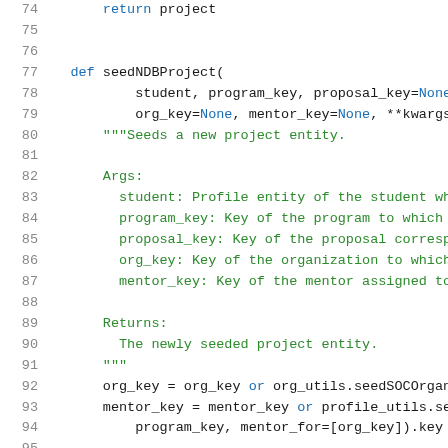[Figure (screenshot): Source code screenshot showing Python function seedNDBProject with docstring, arguments, and return statement. Lines 74-95 visible with syntax highlighting: line numbers in grey, keywords in blue, docstring text in green.]